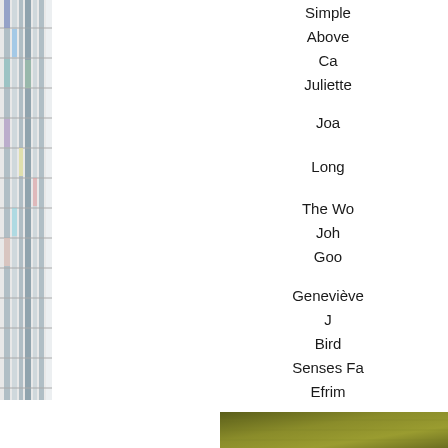[Figure (photo): Vertical strip image of a building or bookshelf with horizontal lines/shelves, positioned on the left edge of the page]
Simple
Above
Ca
Juliette
Joa
Long
The Wo
Joh
Goo
Geneviève
J
Bird
Senses Fa
Efrim
[Figure (photo): Bottom right image strip showing an olive/yellow-green textured surface or landscape, partially visible]